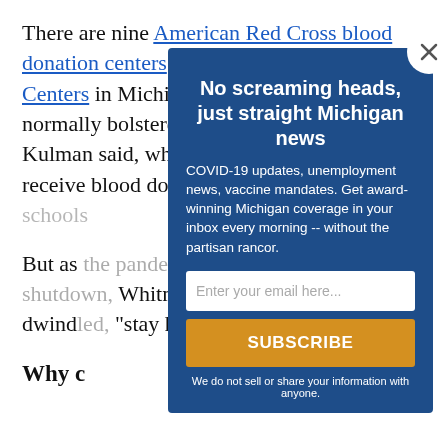There are nine American Red Cross blood donation centers and eight Versiti Blood Centers in Michigan. These centers are normally bolstered by "mobile drives," Kulman said, which are pop-up events to receive blood donations comm... and hi...
But as... statew... Whitm... viable... dwind... "stay h... Michi... April...
Why c...
[Figure (screenshot): Modal popup newsletter signup overlay with dark blue background. Title: 'No screaming heads, just straight Michigan news'. Body text about COVID-19 updates, unemployment news, vaccine mandates. Email input field and Subscribe button.]